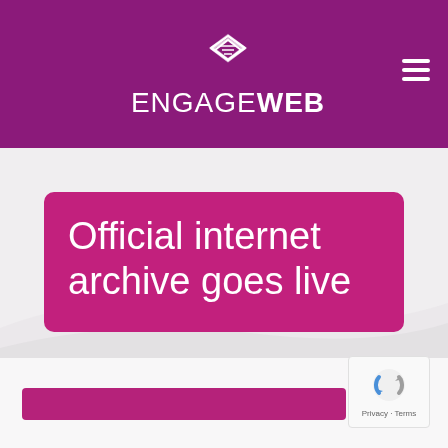[Figure (logo): EngageWeb logo: diamond/stacked pages icon above text 'ENGAGEWEB' in white on purple background, with hamburger menu icon on right]
Official internet archive goes live
[Figure (other): reCAPTCHA badge with rotating arrows icon and 'Privacy - Terms' text]
[Figure (other): Purple search/input bar at bottom of page]